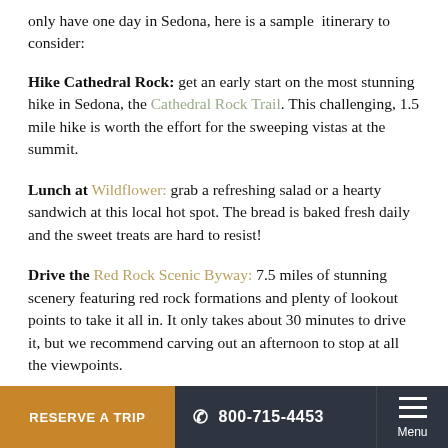only have one day in Sedona, here is a sample itinerary to consider:
Hike Cathedral Rock: get an early start on the most stunning hike in Sedona, the Cathedral Rock Trail. This challenging, 1.5 mile hike is worth the effort for the sweeping vistas at the summit.
Lunch at Wildflower: grab a refreshing salad or a hearty sandwich at this local hot spot. The bread is baked fresh daily and the sweet treats are hard to resist!
Drive the Red Rock Scenic Byway: 7.5 miles of stunning scenery featuring red rock formations and plenty of lookout points to take it all in. It only takes about 30 minutes to drive it, but we recommend carving out an afternoon to stop at all the viewpoints.
RESERVE A TRIP   800-715-4453   Menu